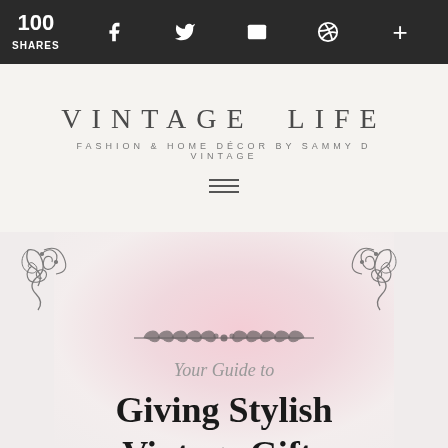100 SHARES — social share bar with Facebook, Twitter, email, Pinterest, and + icons
VINTAGE LIFE
FASHION & HOME DÉCOR BY SAMMY D VINTAGE
[Figure (illustration): Decorative vintage ornament corners and a laurel/leaf branch divider in the center, overlaid on a blurred pink floral photograph background]
Your Guide to
Giving Stylish Vintage Gifts